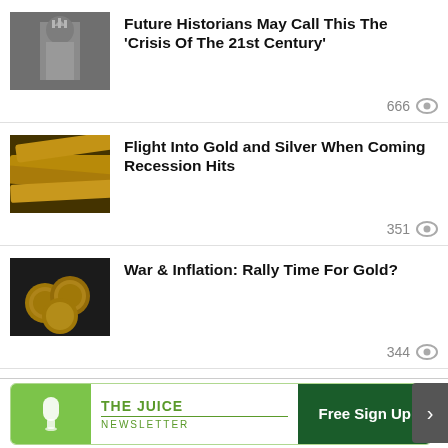[Figure (photo): Grayscale image of Statue of Liberty]
Future Historians May Call This The ‘Crisis Of The 21st Century’
666 views
[Figure (photo): Gold bars close-up photo]
Flight Into Gold and Silver When Coming Recession Hits
351 views
[Figure (photo): Gold coins on dark background]
War & Inflation: Rally Time For Gold?
344 views
[Figure (photo): Partial image of financial/economic subject]
The Fed Can’t Stop Supply-Side Inflation
[Figure (infographic): Advertisement banner: THE JUICE NEWSLETTER with Free Sign Up button]